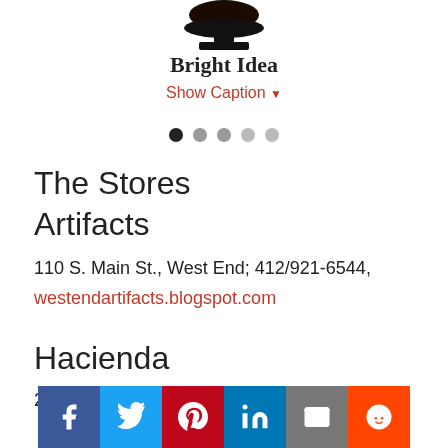[Figure (photo): Partial image of a dark/black object on a stand, cropped at top]
Bright Idea
Show Caption ▾
[Figure (other): Slideshow navigation dots — one filled black (active) and four grey (inactive)]
The Stores
Artifacts
110 S. Main St., West End; 412/921-6544,
westendartifacts.blogspot.com
Hacienda
24th and Railroad St. at the Cork Factory, Strip
[Figure (other): Social media sharing buttons: Facebook, Twitter, Pinterest, LinkedIn, Email, Reddit]